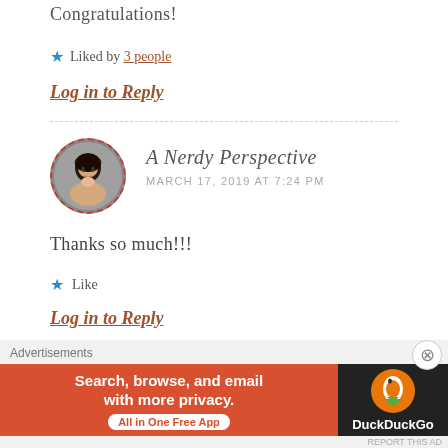Congratulations!
Liked by 3 people
Log in to Reply
A Nerdy Perspective
MARCH 17, 2019 AT 7:24 PM
Thanks so much!!!
Like
Log in to Reply
Advertisements
[Figure (other): DuckDuckGo advertisement banner: 'Search, browse, and email with more privacy. All in One Free App' with DuckDuckGo logo on dark background]